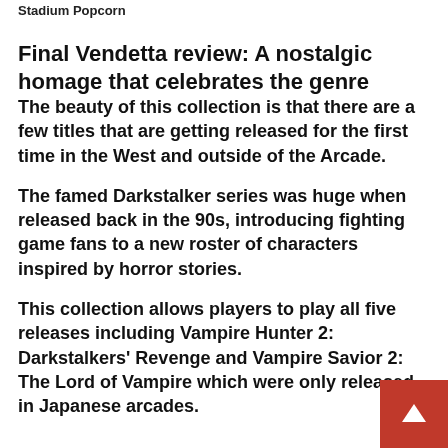Stadium Popcorn
Final Vendetta review: A nostalgic homage that celebrates the genre
The beauty of this collection is that there are a few titles that are getting released for the first time in the West and outside of the Arcade.
The famed Darkstalker series was huge when released back in the 90s, introducing fighting game fans to a new roster of characters inspired by horror stories.
This collection allows players to play all five releases including Vampire Hunter 2: Darkstalkers' Revenge and Vampire Savior 2: The Lord of Vampire which were only released in Japanese arcades.